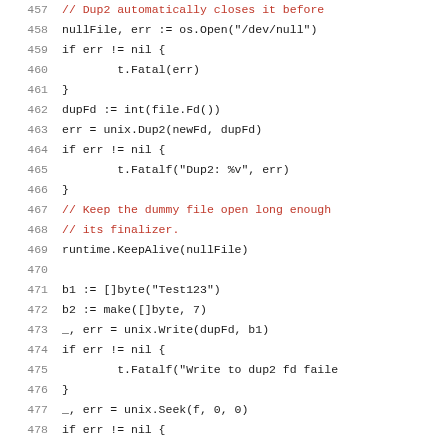Code listing lines 457-478, Go source code showing file operations with unix.Dup2, unix.Write, unix.Seek, and runtime.KeepAlive calls.